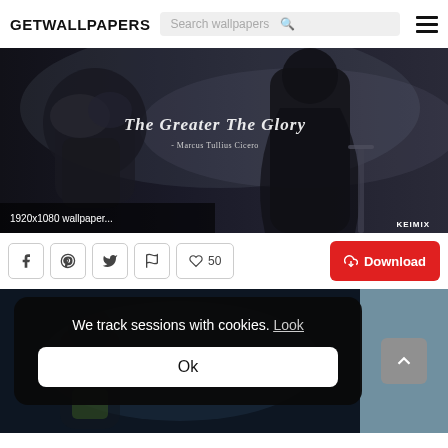GETWALLPAPERS
[Figure (screenshot): Dark fantasy warrior wallpaper with text 'The Greater The Glory - Marcus Tullius Cicero', labeled '1920x1080 wallpaper...' with KEIMIX branding]
1920x1080 wallpaper...
KEIMIX
[Figure (infographic): Action bar with social share icons (Facebook, Pinterest, Twitter, Flag), like button showing 50 likes, and red Download button]
We track sessions with cookies. Look
Ok
[Figure (screenshot): Bottom preview strip showing partial wallpaper thumbnails with a scroll-to-top button]